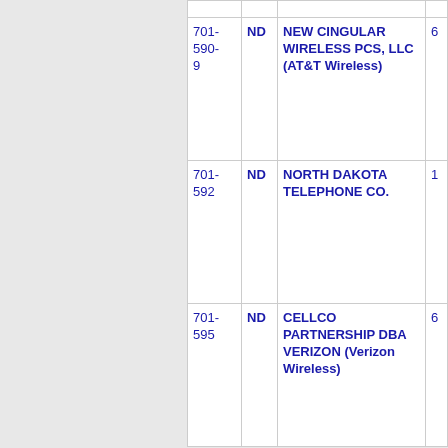| NPA-NXX | State | Company Name | Count |
| --- | --- | --- | --- |
| 701-590-9 | ND | NEW CINGULAR WIRELESS PCS, LLC (AT&T Wireless) | 6 |
| 701-592 | ND | NORTH DAKOTA TELEPHONE CO. | 1 |
| 701-595 | ND | CELLCO PARTNERSHIP DBA VERIZON (Verizon Wireless) | 6 |